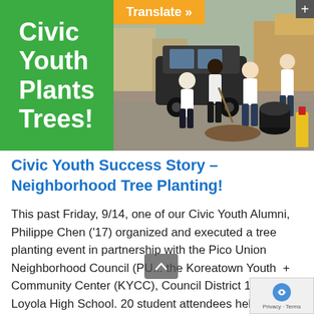[Figure (photo): Hero banner showing a green panel on the left with bold white text 'Civic Youth Plants Trees!' and an orange 'Translate »' button. The right side shows a photograph of young people in white shirts planting trees on a sidewalk, digging with shovels next to black planting pots.]
Civic Youth Success Story – Neighborhood Tree Planting!
This past Friday, 9/14, one of our Civic Youth Alumni, Philippe Chen ('17) organized and executed a tree planting event in partnership with the Pico Union Neighborhood Council (PU... the Koreatown Youth  + Community Center (KYCC), Council District 1, and Loyola High School. 20 student attendees helped to plant 20...